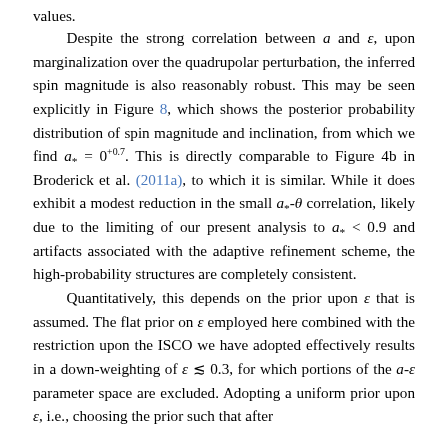values.
Despite the strong correlation between a and ε, upon marginalization over the quadrupolar perturbation, the inferred spin magnitude is also reasonably robust. This may be seen explicitly in Figure 8, which shows the posterior probability distribution of spin magnitude and inclination, from which we find a_* = 0^{+0.7}. This is directly comparable to Figure 4b in Broderick et al. (2011a), to which it is similar. While it does exhibit a modest reduction in the small a_*-θ correlation, likely due to the limiting of our present analysis to a_* < 0.9 and artifacts associated with the adaptive refinement scheme, the high-probability structures are completely consistent.
Quantitatively, this depends on the prior upon ε that is assumed. The flat prior on ε employed here combined with the restriction upon the ISCO we have adopted effectively results in a down-weighting of ε ≲ 0.3, for which portions of the a-ε parameter space are excluded. Adopting a uniform prior upon ε, i.e., choosing the prior such that after